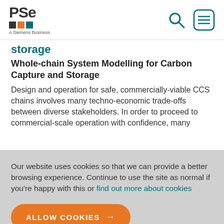PSE — A Siemens Business
storage
Whole-chain System Modelling for Carbon Capture and Storage
Design and operation for safe, commercially-viable CCS chains involves many techno-economic trade-offs between diverse stakeholders. In order to proceed to commercial-scale operation with confidence, many
Our website uses cookies so that we can provide a better browsing experience. Continue to use the site as normal if you're happy with this or find out more about cookies
ALLOW COOKIES →